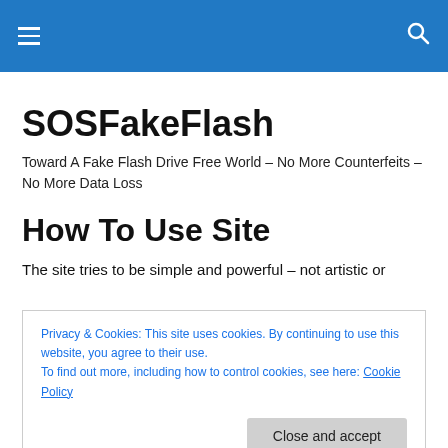≡  🔍
SOSFakeFlash
Toward A Fake Flash Drive Free World – No More Counterfeits – No More Data Loss
How To Use Site
The site tries to be simple and powerful – not artistic or
Privacy & Cookies: This site uses cookies. By continuing to use this website, you agree to their use.
To find out more, including how to control cookies, see here: Cookie Policy
Close and accept
Most recent posts. Up to 25 articles. Most only show the